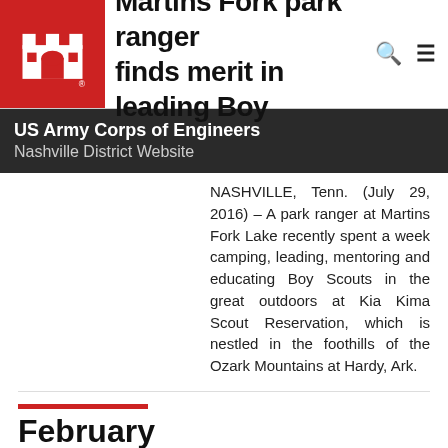[Figure (logo): US Army Corps of Engineers castle logo in white on red background with registered trademark symbol]
Martins Fork park ranger finds merit in leading Boy
US Army Corps of Engineers
Nashville District Website
NASHVILLE, Tenn. (July 29, 2016) – A park ranger at Martins Fork Lake recently spent a week camping, leading, mentoring and educating Boy Scouts in the great outdoors at Kia Kima Scout Reservation, which is nestled in the foothills of the Ozark Mountains at Hardy, Ark.
February
Come see what a Nashville District lake has to offer this summer...